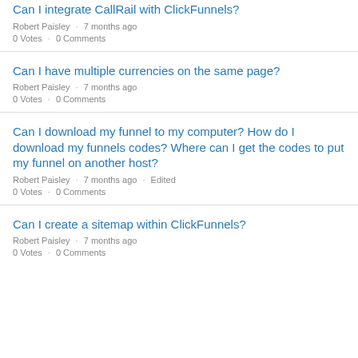Can I integrate CallRail with ClickFunnels?
Robert Paisley · 7 months ago
0 Votes · 0 Comments
Can I have multiple currencies on the same page?
Robert Paisley · 7 months ago
0 Votes · 0 Comments
Can I download my funnel to my computer? How do I download my funnels codes? Where can I get the codes to put my funnel on another host?
Robert Paisley · 7 months ago · Edited
0 Votes · 0 Comments
Can I create a sitemap within ClickFunnels?
Robert Paisley · 7 months ago
0 Votes · 0 Comments